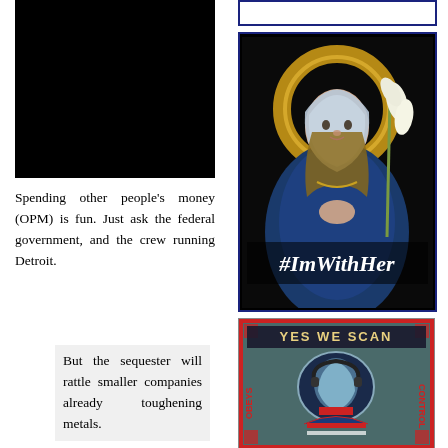[Figure (photo): Black rectangle image in upper left column]
Spending other people's money (OPM) is fun. Just ask the federal government, and the crew running Detroit.
But the sequester will rattle smaller companies already toughening metals.
[Figure (photo): Partial top border box visible at top of right column]
[Figure (illustration): Religious painting of a woman (Virgin Mary) with halo, holding lily, overlaid with text '#ImWithHer', inside a dark blue border frame]
[Figure (illustration): Political poster styled like Obama Hope poster, reading 'YES WE SCAN', with image of Obama wearing headphones, Obama logo with red/white stripes, text OBEYS and CONTROL on sides]